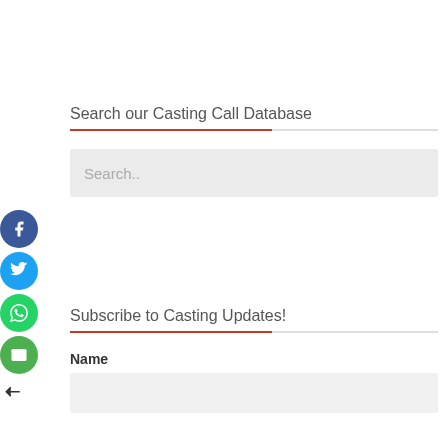Search our Casting Call Database
[Figure (screenshot): Search input box with placeholder text 'Search..']
[Figure (infographic): Social media icons: Facebook (blue), Twitter (blue), WhatsApp (green), Email (green), and an arrow/share icon]
Subscribe to Casting Updates!
Name
[Figure (screenshot): Name input text field (empty, light grey background)]